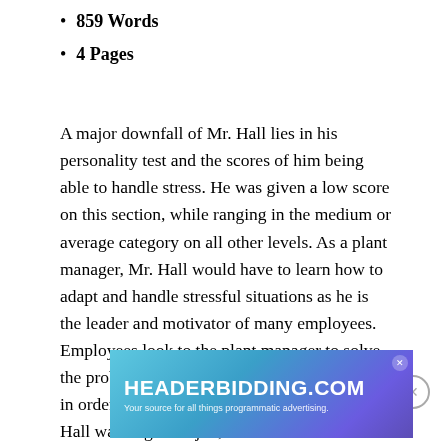859 Words
4 Pages
A major downfall of Mr. Hall lies in his personality test and the scores of him being able to handle stress. He was given a low score on this section, while ranging in the medium or average category on all other levels. As a plant manager, Mr. Hall would have to learn how to adapt and handle stressful situations as he is the leader and motivator of many employees. Employees look to the plant manager to solve the problems and be the leader of the company in order for everything to run smoothly. If Mr. Hall was to get the job, he would have to learn how to successful handle and
[Figure (other): HEADERBIDDING.COM advertisement banner — Your source for all things programmatic advertising.]